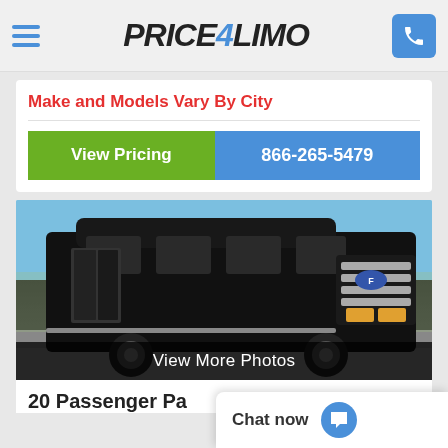Price4Limo
Make and Models Vary By City
View Pricing
866-265-5479
[Figure (photo): Black party bus / passenger van vehicle photographed outdoors with blue sky background, doors open showing interior]
View More Photos
20 Passenger Pa
Chat now